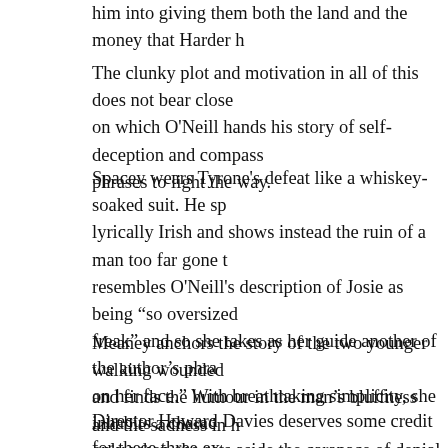him into giving them both the land and the money that Harder h
The clunky plot and motivation in all of this does not bear close on which O'Neill hands his story of self-deception and compass phrases to light the way.
Spacey wears Tyrone's defeat like a whiskey-soaked suit. He sp lyrically Irish and shows instead the ruin of a man too far gone resembles O'Neill's description of Josie as being "so oversized freak" and so she takes as her guide another of the author's phra on her face." With breathtaking simplicity, she inhabits a charac only when she sets aside the carapace of denial.
Meaney anchors the story of the two younger walking wounded and finds the humour in the man's bluffness and the sadness in h
Director Howard Davies deserves some credit for these three ex look and feel of the production. Bob Crowley's atmospheric des lighting and Dominic Muldowney's bluesy music similarly are